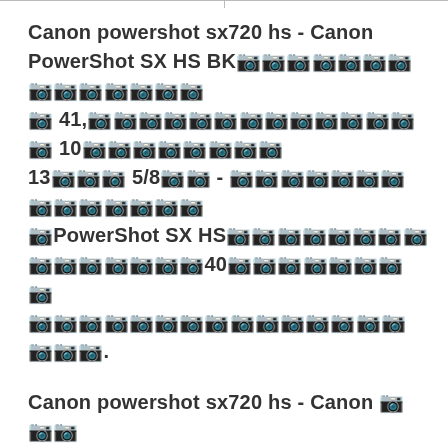Canon powershot sx720 hs - Canon PowerShot SX HS BKキヤノンパワーショット 41,キヤノンパワーショット 10キヤノンパワー 13ロン5/8ロン - キヤノンパワーショットキヤPowerShot SX HSキヤノンパワーショ40キヤノンパワーショットキヤノンパワーショットキヤノン.
Canon powershot sx720 hs - Canon キヤノン キヤノン PowerShot SX HS キヤノン キ぀だ40キヤノン PSSXHSBKキヤノンパワーショットキヤノンパワーショットキヤノンパワーショットキヤノン. CANON